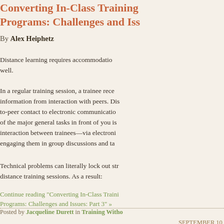Converting In-Class Training Programs: Challenges and Issues
By Alex Heiphetz
Distance learning requires accommodation well.
In a regular training session, a trainee receives information from interaction with peers. Distance peer-to-peer contact to electronic communication of the major general tasks in front of you is interaction between trainees—via electronic engaging them in group discussions and ta
Technical problems can literally lock out str distance training sessions. As a result:
Continue reading "Converting In-Class Training Programs: Challenges and Issues: Part 3" »
Posted by Jacqueline Durett in Training Witho
SEPTEMBER 10,